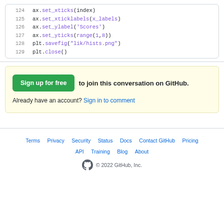124 ax.set_xticks(index)
125 ax.set_xticklabels(x_labels)
126 ax.set_ylabel('Scores')
127 ax.set_yticks(range(1,8))
128 plt.savefig("lik/hists.png")
129 plt.close()
Sign up for free to join this conversation on GitHub. Already have an account? Sign in to comment
Terms · Privacy · Security · Status · Docs · Contact GitHub · Pricing · API · Training · Blog · About · © 2022 GitHub, Inc.